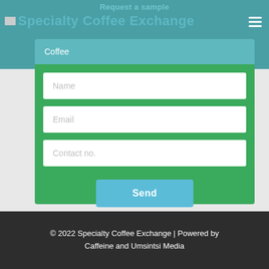Request a Sample
Specialty Coffee Exchange
Coffee
Name
Email
Contact no.
Send
© 2022 Specialty Coffee Exchange | Powered by Caffeine and Umsintsi Media